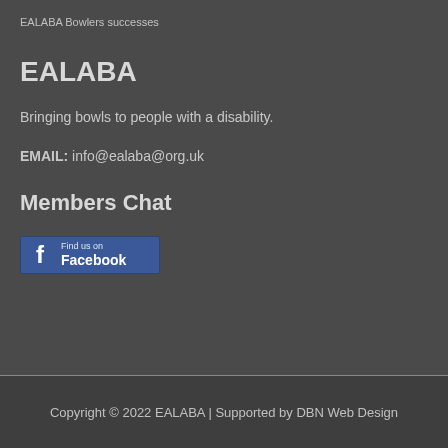EALABA Bowlers successes
EALABA
Bringing bowls to people with a disability.
EMAIL:  info@ealaba@org.uk
Members Chat
[Figure (logo): Find us on Facebook badge with Facebook logo icon on blue background]
Copyright © 2022 EALABA | Supported by DBN Web Design